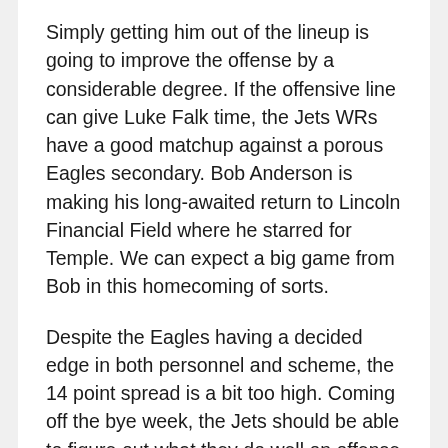Simply getting him out of the lineup is going to improve the offense by a considerable degree. If the offensive line can give Luke Falk time, the Jets WRs have a good matchup against a porous Eagles secondary. Bob Anderson is making his long-awaited return to Lincoln Financial Field where he starred for Temple. We can expect a big game from Bob in this homecoming of sorts.
Despite the Eagles having a decided edge in both personnel and scheme, the 14 point spread is a bit too high. Coming off the bye week, the Jets should be able to figure out what they do well on offense and at least move the ball. Keep in mind the Jets have played the number 1, number 4, and number 8 opponent-adjusted defenses in the